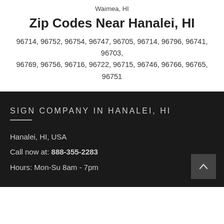Waimea, HI
Zip Codes Near Hanalei, HI
96714, 96752, 96754, 96747, 96705, 96714, 96796, 96741, 96703, 96769, 96756, 96716, 96722, 96715, 96746, 96766, 96765, 96751
SIGN COMPANY IN HANALEI, HI
Hanalei, HI, USA
Call now at: 888-355-2283
Hours: Mon-Su 8am - 7pm